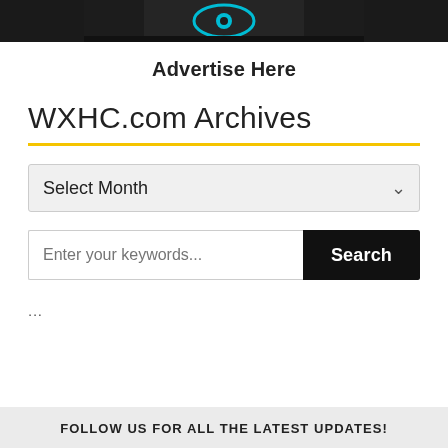[Figure (screenshot): Dark banner image with a partial logo/eye icon visible at the top of the page]
Advertise Here
WXHC.com Archives
Select Month
Enter your keywords...
Search
...
FOLLOW US FOR ALL THE LATEST UPDATES!